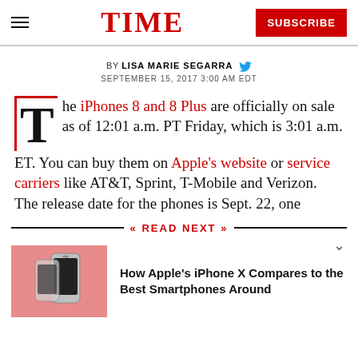TIME | SUBSCRIBE
BY LISA MARIE SEGARRA | SEPTEMBER 15, 2017 3:00 AM EDT
The iPhones 8 and 8 Plus are officially on sale as of 12:01 a.m. PT Friday, which is 3:01 a.m. ET. You can buy them on Apple's website or service carriers like AT&T, Sprint, T-Mobile and Verizon. The release date for the phones is Sept. 22, one
READ NEXT
How Apple's iPhone X Compares to the Best Smartphones Around